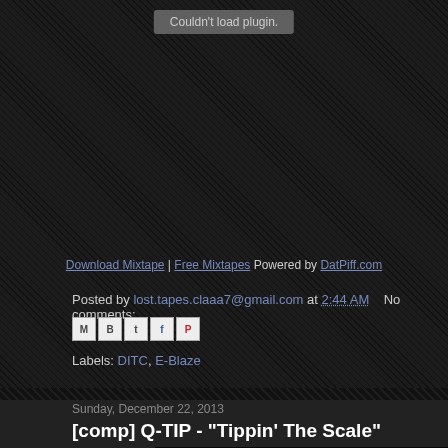[Figure (screenshot): Embedded media plugin placeholder showing 'Couldn't load plugin.' on dark background]
Download Mixtape | Free Mixtapes Powered by DatPiff.com
Posted by lost.tapes.claaa7@gmail.com at 2:44 AM   No comments:
[Figure (other): Social sharing icons: email, blogger, twitter, facebook, pinterest]
Labels: DITC, E-Blaze
Sunday, December 22, 2013
[comp] Q-TIP - "Tippin' The Scale"
[Figure (photo): Concert photo showing drums/percussion on stage with green lighting and performer in background]